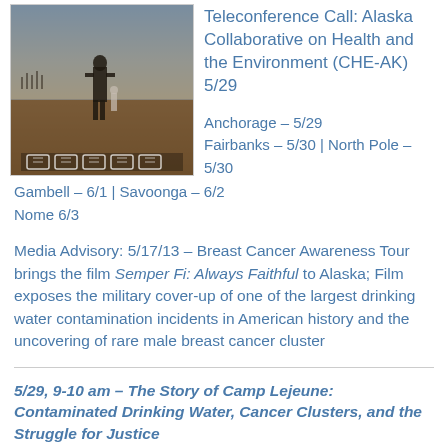[Figure (photo): Movie poster for Semper Fi: Always Faithful, showing a figure in military attire standing in a barren landscape with a small child, award laurels at the bottom]
Teleconference Call: Alaska Collaborative on Health and the Environment (CHE-AK) 5/29
Anchorage – 5/29
Fairbanks – 5/30 | North Pole – 5/30
Gambell – 6/1 | Savoonga – 6/2
Nome 6/3
Media Advisory: 5/17/13 – Breast Cancer Awareness Tour brings the film Semper Fi: Always Faithful to Alaska; Film exposes the military cover-up of one of the largest drinking water contamination incidents in American history and the uncovering of rare male breast cancer cluster
5/29, 9-10 am – The Story of Camp Lejeune: Contaminated Drinking Water, Cancer Clusters, and the Struggle for Justice
A free one hour teleconference call hosted by ACAT's Alaska Collaborative